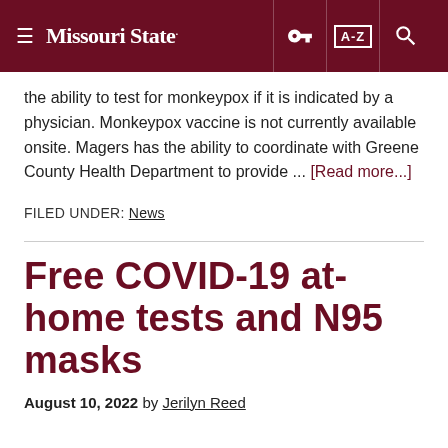Missouri State
the ability to test for monkeypox if it is indicated by a physician. Monkeypox vaccine is not currently available onsite. Magers has the ability to coordinate with Greene County Health Department to provide ... [Read more...]
FILED UNDER: News
Free COVID-19 at-home tests and N95 masks
August 10, 2022 by Jerilyn Reed